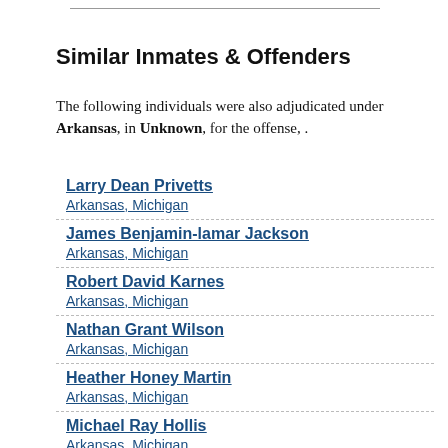Similar Inmates & Offenders
The following individuals were also adjudicated under Arkansas, in Unknown, for the offense, .
Larry Dean Privetts
Arkansas, Michigan
James Benjamin-lamar Jackson
Arkansas, Michigan
Robert David Karnes
Arkansas, Michigan
Nathan Grant Wilson
Arkansas, Michigan
Heather Honey Martin
Arkansas, Michigan
Michael Ray Hollis
Arkansas, Michigan